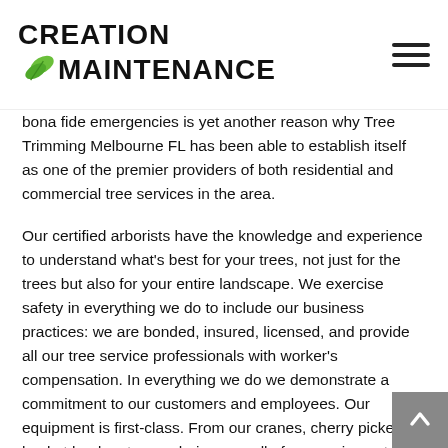CREATION MAINTENANCE
bona fide emergencies is yet another reason why Tree Trimming Melbourne FL has been able to establish itself as one of the premier providers of both residential and commercial tree services in the area.
Our certified arborists have the knowledge and experience to understand what's best for your trees, not just for the trees but also for your entire landscape. We exercise safety in everything we do to include our business practices: we are bonded, insured, licensed, and provide all our tree service professionals with worker's compensation. In everything we do we demonstrate a commitment to our customers and employees. Our equipment is first-class. From our cranes, cherry pickers, bucket loaders to our chainsaws, all of our equipment is well maintained and